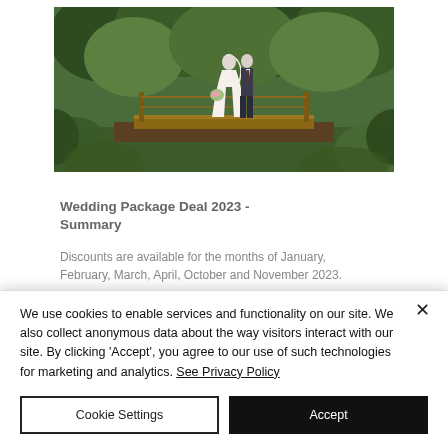[Figure (photo): Wedding couple standing on a wooden deck or bridge surrounded by green foliage and trees]
Wedding Package Deal 2023 - Summary
Discounts are available for the months of January, February, March, April, October and November 2023.
Depending on the date of your wedding and your number of guests
We use cookies to enable services and functionality on our site. We also collect anonymous data about the way visitors interact with our site. By clicking 'Accept', you agree to our use of such technologies for marketing and analytics. See Privacy Policy
Cookie Settings
Accept